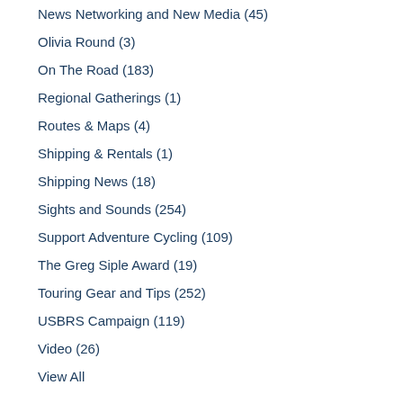News Networking and New Media (45)
Olivia Round (3)
On The Road (183)
Regional Gatherings (1)
Routes & Maps (4)
Shipping & Rentals (1)
Shipping News (18)
Sights and Sounds (254)
Support Adventure Cycling (109)
The Greg Siple Award (19)
Touring Gear and Tips (252)
USBRS Campaign (119)
Video (26)
View All
Archive
December 2018 (1)
November 2018 (3)
September 2018 (3)